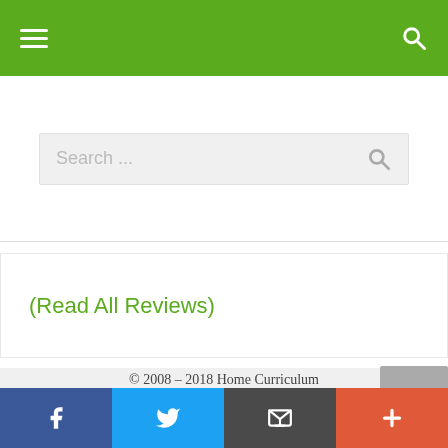Navigation bar with hamburger menu and search icon
Search ...
(Read All Reviews)
© 2008 – 2018 Home Curriculum
Home
About Us
Social bar: Facebook, Twitter, Email, Plus